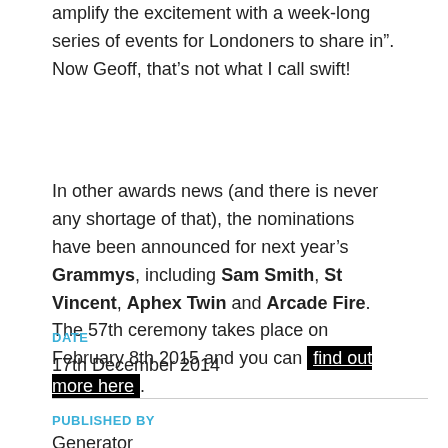amplify the excitement with a week-long series of events for Londoners to share in”. Now Geoff, that’s not what I call swift!
In other awards news (and there is never any shortage of that), the nominations have been announced for next year’s Grammys, including Sam Smith, St Vincent, Aphex Twin and Arcade Fire. The 57th ceremony takes place on February 8th 2015 and you can find out more here.
DATE
17th December 2014
PUBLISHED BY
Generator